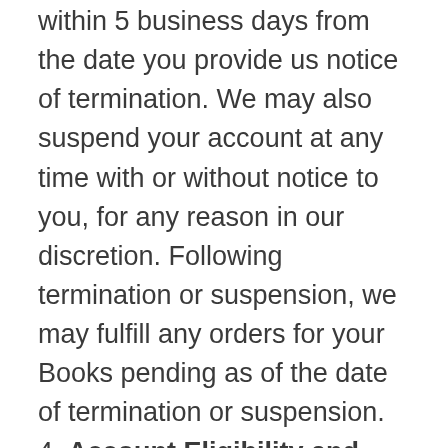within 5 business days from the date you provide us notice of termination. We may also suspend your account at any time with or without notice to you, for any reason in our discretion. Following termination or suspension, we may fulfill any orders for your Books pending as of the date of termination or suspension.
4. Account Eligibility and Registration
1. Eligibility. You must have an active account in order to participate in the Print Trail web application. You represent that you are at least 18 years old (or the age of majority where you reside, whichever is older) and that you are able to form a